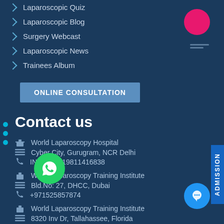Laparoscopic Quiz
Laparoscopic Blog
Surgery Webcast
Laparoscopic News
Trainees Album
ONLINE CONSULTATION
Contact us
World Laparoscopy Hospital
Cyber City, Gurugram, NCR Delhi
INDIA : +919811416838
World Laparoscopy Training Institute
Bld.No: 27, DHCC, Dubai
+971525857874
World Laparoscopy Training Institute
8320 Inv Dr, Tallahassee, Florida